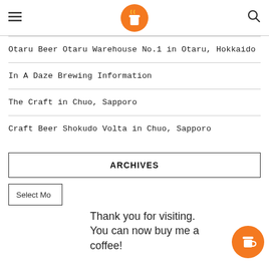Navigation header with hamburger menu, logo, and search icon
Otaru Beer Otaru Warehouse No.1 in Otaru, Hokkaido
In A Daze Brewing Information
The Craft in Chuo, Sapporo
Craft Beer Shokudo Volta in Chuo, Sapporo
ARCHIVES
Select Mo
Thank you for visiting. You can now buy me a coffee!